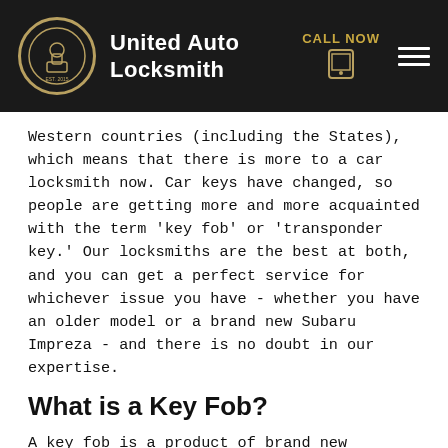United Auto Locksmith
Western countries (including the States), which means that there is more to a car locksmith now. Car keys have changed, so people are getting more and more acquainted with the term 'key fob' or 'transponder key.' Our locksmiths are the best at both, and you can get a perfect service for whichever issue you have - whether you have an older model or a brand new Subaru Impreza - and there is no doubt in our expertise.
What is a Key Fob?
A key fob is a product of brand new technology for cars, which makes locking and unlocking cars the easiest thing - by just pushing one button. It looks like a keychain accessory, but it's much more than that. It represents an essential element of the so-called system for keyless entry. In order to work, it needs to be placed at least around 16-65 feet away from the car, and it works by the principle of radio waves. When the button is pushed, a particular code is sent to "tell" the car what it should be doing - unlocking the car or opening the trunk. This little,